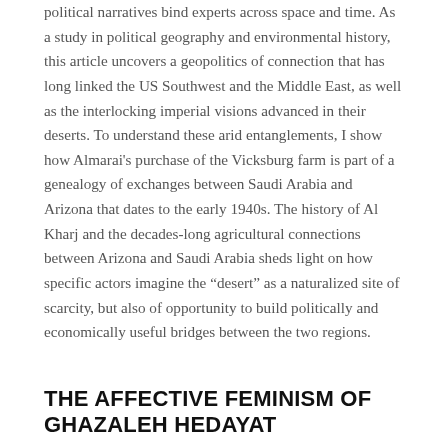political narratives bind experts across space and time. As a study in political geography and environmental history, this article uncovers a geopolitics of connection that has long linked the US Southwest and the Middle East, as well as the interlocking imperial visions advanced in their deserts. To understand these arid entanglements, I show how Almarai's purchase of the Vicksburg farm is part of a genealogy of exchanges between Saudi Arabia and Arizona that dates to the early 1940s. The history of Al Kharj and the decades-long agricultural connections between Arizona and Saudi Arabia sheds light on how specific actors imagine the “desert” as a naturalized site of scarcity, but also of opportunity to build politically and economically useful bridges between the two regions.
THE AFFECTIVE FEMINISM OF GHAZALEH HEDAYAT